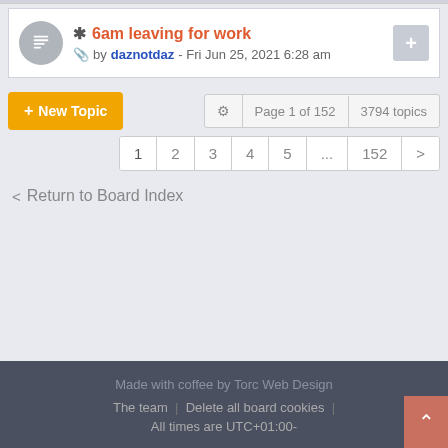* 6am leaving for work by daznotdaz - Fri Jun 25, 2021 6:28 am
+ New Topic  Page 1 of 152  3794 topics
1  2  3  4  5  ...  152  >
< Return to Board Index
Made with coffee by Torc Web Design  The team  |  Delete all board cookies  |  All times are UTC+01:00-